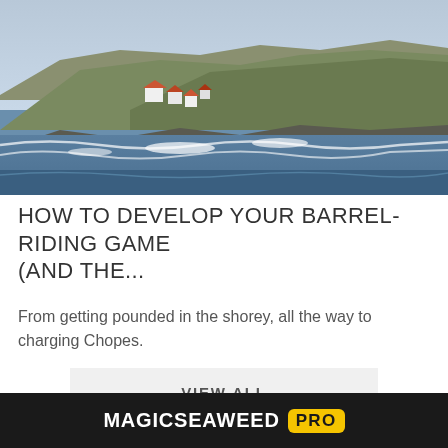[Figure (photo): Coastal scene with waves breaking near a rocky headland. Houses and buildings visible on the hillside with green shrubs. Ocean waves in the foreground with white foam.]
HOW TO DEVELOP YOUR BARREL-RIDING GAME (AND THE...
From getting pounded in the shorey, all the way to charging Chopes.
VIEW ALL
MAGICSEAWEED PRO